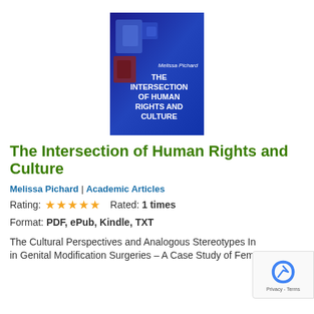[Figure (illustration): Book cover of 'The Intersection of Human Rights and Culture' by Melissa Pichard. Dark blue background with abstract geometric shapes and white bold text displaying the title and author name.]
The Intersection of Human Rights and Culture
Melissa Pichard | Academic Articles
Rating: ★★★★★   Rated: 1 times
Format: PDF, ePub, Kindle, TXT
The Cultural Perspectives and Analogous Stereotypes Involved in Genital Modification Surgeries – A Case Study of Female